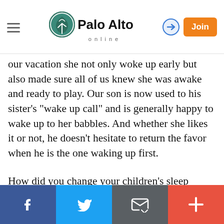Palo Alto Online
our vacation she not only woke up early but also made sure all of us knew she was awake and ready to play. Our son is now used to his sister's "wake up call" and is generally happy to wake up to her babbles. And whether she likes it or not, he doesn't hesitate to return the favor when he is the one waking up first.
How did you change your children's sleep schedules to prepare for the school year?
[Figure (infographic): Palo Alto Online advertisement banner with teal landscape background. Left side shows Palo Alto Online logo. Center text reads 'Democracy. What is it worth to you?' Right side has orange Subscribe button.]
Social media sharing bar with Facebook, Twitter, Email, and Add buttons